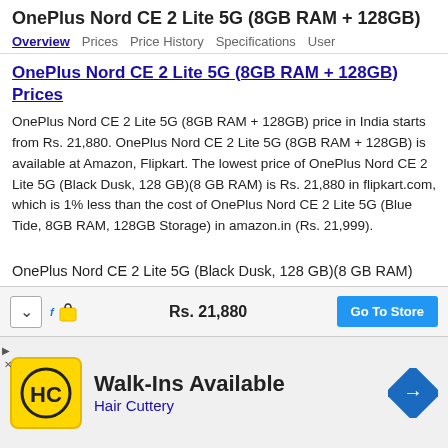OnePlus Nord CE 2 Lite 5G (8GB RAM + 128GB)
Overview  Prices  Price History  Specifications  User
OnePlus Nord CE 2 Lite 5G (8GB RAM + 128GB) Prices
OnePlus Nord CE 2 Lite 5G (8GB RAM + 128GB) price in India starts from Rs. 21,880. OnePlus Nord CE 2 Lite 5G (8GB RAM + 128GB) is available at Amazon, Flipkart. The lowest price of OnePlus Nord CE 2 Lite 5G (Black Dusk, 128 GB)(8 GB RAM) is Rs. 21,880 in flipkart.com, which is 1% less than the cost of OnePlus Nord CE 2 Lite 5G (Blue Tide, 8GB RAM, 128GB Storage) in amazon.in (Rs. 21,999).
OnePlus Nord CE 2 Lite 5G (Black Dusk, 128 GB)(8 GB RAM)
Rs. 21,880
Go To Store
[Figure (other): Advertisement for Hair Cuttery with Walk-Ins Available text, HC logo in yellow circle, and blue navigation arrow icon]